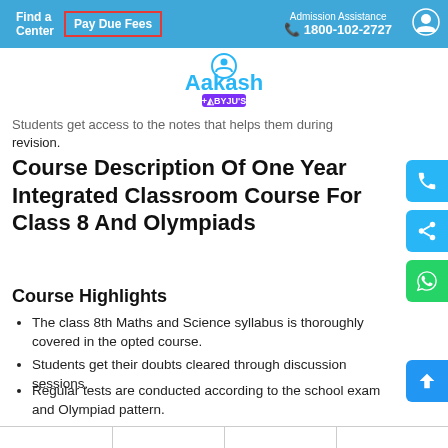Find a Center | Pay Due Fees | Admission Assistance 1800-102-2727
[Figure (logo): Aakash + BYJU'S logo]
Students get access to the notes that helps them during revision.
Course Description Of One Year Integrated Classroom Course For Class 8 And Olympiads
Course Highlights
The class 8th Maths and Science syllabus is thoroughly covered in the opted course.
Students get their doubts cleared through discussion sessions.
Regular tests are conducted according to the school exam and Olympiad pattern.
|  |  |  |  |